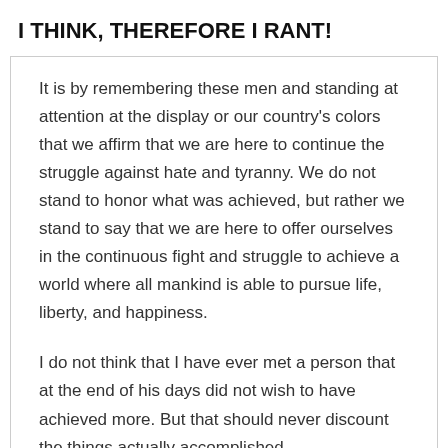I THINK, THEREFORE I RANT!
It is by remembering these men and standing at attention at the display or our country's colors that we affirm that we are here to continue the struggle against hate and tyranny. We do not stand to honor what was achieved, but rather we stand to say that we are here to offer ourselves in the continuous fight and struggle to achieve a world where all mankind is able to pursue life, liberty, and happiness.
I do not think that I have ever met a person that at the end of his days did not wish to have achieved more. But that should never discount the things actually accomplished.